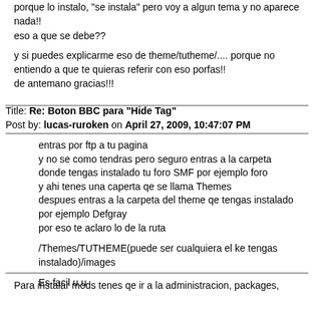porque lo instalo, "se instala" pero voy a algun tema y no aparece nada!!
eso a que se debe??

y si puedes explicarme eso de theme/tutheme/.... porque no entiendo a que te quieras referir con eso porfas!!
de antemano gracias!!!
Title: Re: Boton BBC para "Hide Tag"
Post by: lucas-ruroken on April 27, 2009, 10:47:07 PM
entras por ftp a tu pagina
y no se como tendras pero seguro entras a la carpeta donde tengas instalado tu foro SMF por ejemplo foro
y ahi tenes una caperta qe se llama Themes
despues entras a la carpeta del theme qe tengas instalado por ejemplo Defgray
por eso te aclaro lo de la ruta

/Themes/TUTHEME(puede ser cualquiera el ke tengas instalado)/images

Es facil u.u
Para instalar mods tenes qe ir a la administracion, packages,